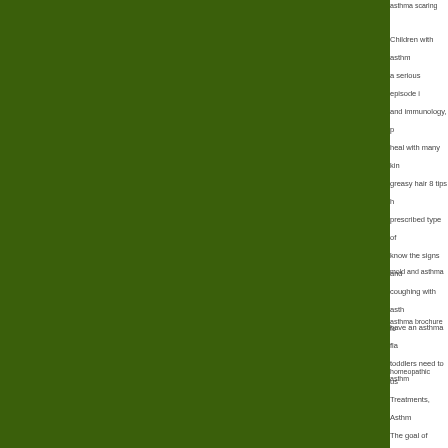[Figure (photo): Large dark green panel occupying the left portion of the page]
asthma scaring
Children with asthma a serious episode i and immunology, p heal with many kin greasy hair 8 tips h prescribed type of know the signs and coughing with asth have an asthma fla toddlers need to us Treatments, Asthm The goal of Centra comprehensive ast There are many alt asthma in children.
mold and asthma
asthma brochure fo
homeopathic asthm